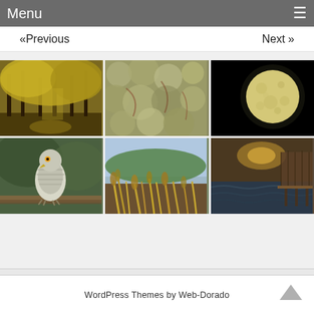Menu  ☰
«Previous   Next »
[Figure (photo): Six nature photographs in a 2-row, 3-column grid: autumn trees, lichen closeup, full moon, hawk/bird of prey, coastal grasses, seaside pier at sunset]
WordPress Themes by Web-Dorado